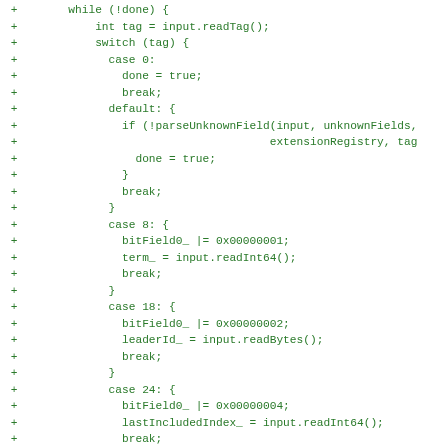[Figure (screenshot): Code diff snippet showing Java/C++ code additions (lines marked with '+') for a while loop with switch-case handling tags, parsing fields, and reading various data types (Int64, Bytes).]